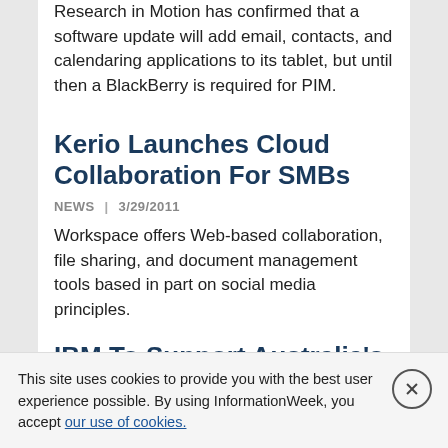Research in Motion has confirmed that a software update will add email, contacts, and calendaring applications to its tablet, but until then a BlackBerry is required for PIM.
Kerio Launches Cloud Collaboration For SMBs
NEWS  |  3/29/2011
Workspace offers Web-based collaboration, file sharing, and document management tools based in part on social media principles.
IBM To Support Australia's National Broadband Plan
NEWS  |  3/29/2011
This site uses cookies to provide you with the best user experience possible. By using InformationWeek, you accept our use of cookies.